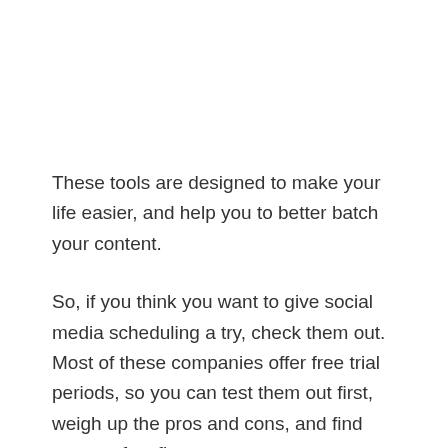These tools are designed to make your life easier, and help you to better batch your content.
So, if you think you want to give social media scheduling a try, check them out. Most of these companies offer free trial periods, so you can test them out first, weigh up the pros and cons, and find your perfect fit.